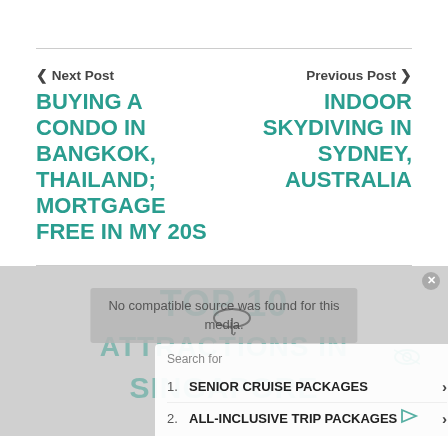‹Next Post
BUYING A CONDO IN BANGKOK, THAILAND; MORTGAGE FREE IN MY 20S
Previous Post ›
INDOOR SKYDIVING IN SYDNEY, AUSTRALIA
[Figure (screenshot): Ad overlay with video error message: 'No compatible source was found for this media.' and a search panel listing 1. SENIOR CRUISE PACKAGES, 2. ALL-INCLUSIVE TRIP PACKAGES. Background shows muted teal text 'TOP 10 ATTRACTIONS IN SINGAPORE'.]